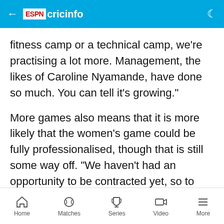ESPN cricinfo
fitness camp or a technical camp, we're practising a lot more. Management, the likes of Caroline Nyamande, have done so much. You can tell it's growing."
More games also means that it is more likely that the women's game could be fully professionalised, though that is still some way off. "We haven't had an opportunity to be contracted yet, so to decide that you will focus only on cricket without a contract is unrealistic," says Musonda. "We haven't developed to that level yet but it is heading in that direction. The more exposure we get, the more game time, then the
Home  Matches  Series  Video  More